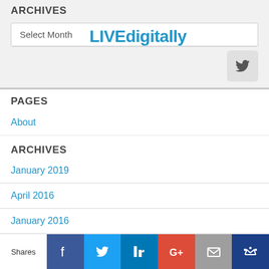ARCHIVES
[Figure (screenshot): Archives dropdown with 'Select Month' and LIVEdigitally logo overlay]
[Figure (logo): Twitter bird icon button]
PAGES
About
ARCHIVES
January 2019
April 2016
January 2016
December 2015
June 2015
Shares | Facebook | Twitter | LinkedIn | Google+ | Mail | Crown